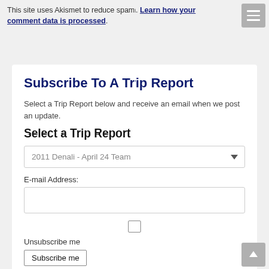This site uses Akismet to reduce spam. Learn how your comment data is processed.
Subscribe To A Trip Report
Select a Trip Report below and receive an email when we post an update.
Select a Trip Report
2011 Denali - April 24 Team
E-mail Address:
Unsubscribe me
Subscribe me